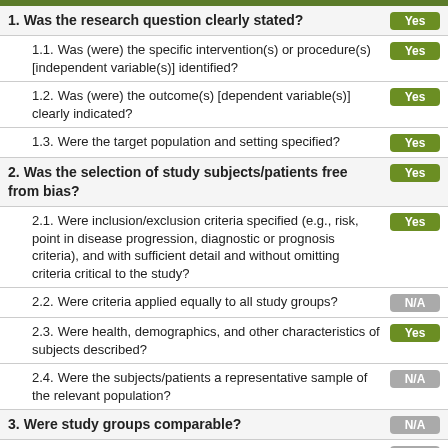1. Was the research question clearly stated? Yes
1.1. Was (were) the specific intervention(s) or procedure(s) [independent variable(s)] identified? Yes
1.2. Was (were) the outcome(s) [dependent variable(s)] clearly indicated? Yes
1.3. Were the target population and setting specified? Yes
2. Was the selection of study subjects/patients free from bias? Yes
2.1. Were inclusion/exclusion criteria specified (e.g., risk, point in disease progression, diagnostic or prognosis criteria), and with sufficient detail and without omitting criteria critical to the study? Yes
2.2. Were criteria applied equally to all study groups? N/A
2.3. Were health, demographics, and other characteristics of subjects described? Yes
2.4. Were the subjects/patients a representative sample of the relevant population? N/A
3. Were study groups comparable? N/A
3.1. Was the method of assigning subjects/patients to groups described and unbiased? (Method of randomization identified if RCT) N/A
3.2. Were distribution of disease status, prognostic factors, and other N/A